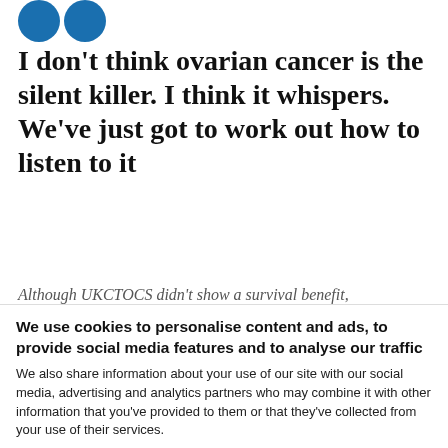[Figure (logo): Two blue circles side by side (logo/avatar area)]
I don’t think ovarian cancer is the silent killer. I think it whispers. We’ve just got to work out how to listen to it
Although UKCTOCS didn’t show a survival benefit,
We use cookies to personalise content and ads, to provide social media features and to analyse our traffic
We also share information about your use of our site with our social media, advertising and analytics partners who may combine it with other information that you’ve provided to them or that they’ve collected from your use of their services.